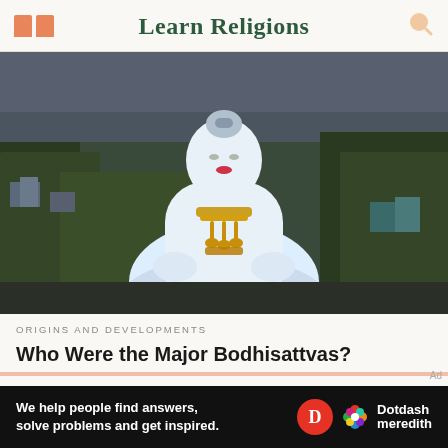Learn Religions
[Figure (photo): Large white Buddhist Bodhisattva statue with gold ornaments, seated in meditation, aerial view showing surrounding landscape with trees and buildings]
ORIGINS AND DEVELOPMENTS
Who Were the Major Bodhisattvas?
[Figure (infographic): Dotdash Meredith advertisement banner: 'We help people find answers, solve problems and get inspired.']